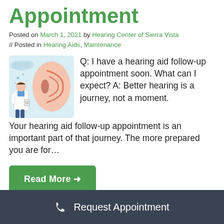Appointment
Posted on March 1, 2021 by Hearing Center of Sierra Vista // Posted in Hearing Aids, Maintenance
[Figure (illustration): Medical illustration showing a doctor figure next to a large ear diagram with blue and red anatomical details on a light blue background]
Q: I have a hearing aid follow-up appointment soon. What can I expect? A: Better hearing is a journey, not a moment. Your hearing aid follow-up appointment is an important part of that journey. The more prepared you are for…
Read More →
☎ Request Appointment